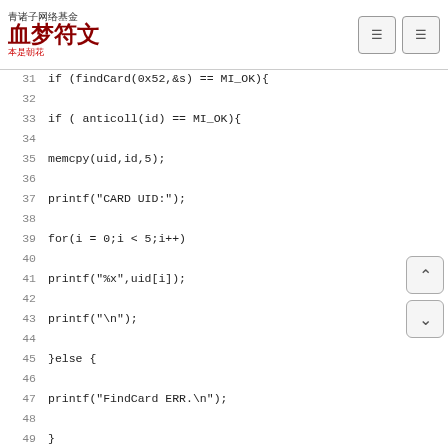血梦符文 - 青诸子网络基金 本是朝花
[Figure (screenshot): Code snippet showing C code lines 31-58 with line numbers on left side]
31  if (findCard(0x52,&s) == MI_OK){
32
33  if ( anticoll(id) == MI_OK){
34
35  memcpy(uid,id,5);
36
37  printf("CARD UID:");
38
39  for(i = 0;i < 5;i++)
40
41  printf("%x",uid[i]);
42
43  printf("\n");
44
45  }else {
46
47  printf("FindCard ERR.\n");
48
49  }
50
51  //select Card
52
53  selectTag(uid);
54
55
56  //auth
57
58  if(auth(0x60,4,key,uid) == MI_OK){